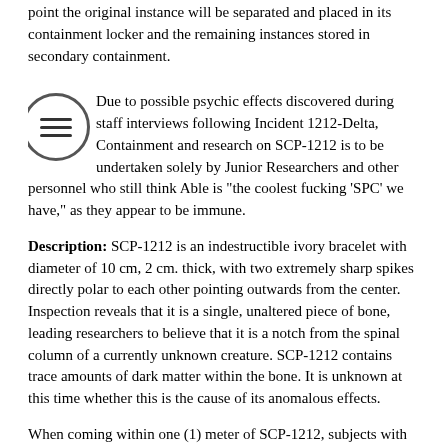point the original instance will be separated and placed in its containment locker and the remaining instances stored in secondary containment.
Due to possible psychic effects discovered during staff interviews following Incident 1212-Delta, Containment and research on SCP-1212 is to be undertaken solely by Junior Researchers and other personnel who still think Able is "the coolest fucking 'SPC' we have," as they appear to be immune.
Description: SCP-1212 is an indestructible ivory bracelet with diameter of 10 cm, 2 cm. thick, with two extremely sharp spikes directly polar to each other pointing outwards from the center. Inspection reveals that it is a single, unaltered piece of bone, leading researchers to believe that it is a notch from the spinal column of a currently unknown creature. SCP-1212 contains trace amounts of dark matter within the bone. It is unknown at this time whether this is the cause of its anomalous effects.
When coming within one (1) meter of SCP-1212, subjects with no prior knowledge of its effects experience a strong compulsion to wear it. When placed on any limb of the body, SCP-1212's spikes will turn inward and the bracelet itself will contract to clamp tightly around the limb. Subjects will typically report extreme pain following the impalement of the limb, and at this point will attempt to remove SCP-1212. It is impossible to remove SCP-1212 following impalement.
Over the course of three hours, the subject's spinal notches will become hollow, and widen to a diameter of 10 cm. Two spikes will grow on each notch. When three hours have elapsed, each spinal notch will detach itself from the subject by rotating at a speed of 2000 rpm. All spinal notches are identical in appearance and effect to the original instance of SCP-1212, save for two